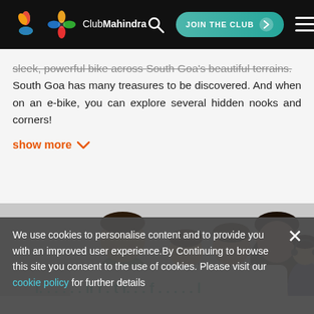ClubMahindra — JOIN THE CLUB navigation bar
sleek, powerful bike across South Goa's beautiful terrains. South Goa has many treasures to be discovered. And when on an e-bike, you can explore several hidden nooks and corners!
show more
[Figure (photo): Family of four (man, girl, boy, woman) smiling, peeking over a white card, with a cartoon customer service representative on the right.]
We use cookies to personalise content and to provide you with an improved user experience. By Continuing to browse this site you consent to the use of cookies. Please visit our cookie policy for further details